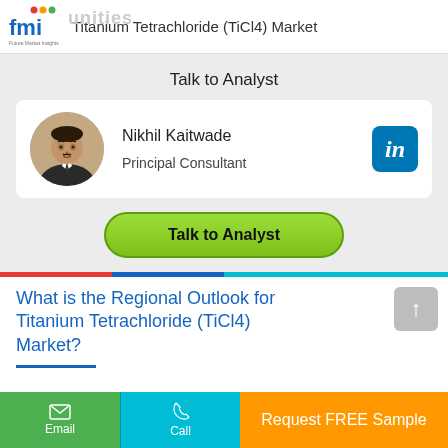Titanium Tetrachloride (TiCl4) Market
Talk to Analyst
Nikhil Kaitwade
Principal Consultant
[Figure (illustration): Green 'Talk to Analyst' button with rounded pill shape]
What is the Regional Outlook for Titanium Tetrachloride (TiCl4) Market?
Email | Call | Request FREE Sample